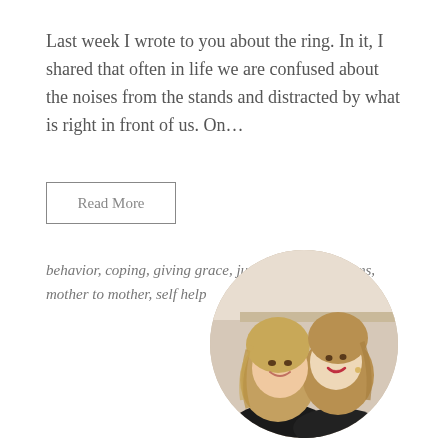Last week I wrote to you about the ring. In it, I shared that often in life we are confused about the noises from the stands and distracted by what is right in front of us. On…
Read More
behavior, coping, giving grace, judgment, mom, moms, mother to mother, self help
[Figure (photo): Two smiling women with blonde hair posed together in a circular cropped portrait photo]